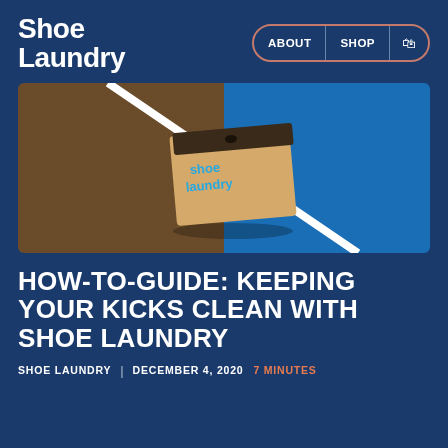Shoe Laundry — ABOUT | SHOP | [bag icon]
[Figure (photo): A Shoe Laundry branded cardboard box photographed from above, placed on a sports court surface with a white line dividing brown and blue sections of the court.]
HOW-TO-GUIDE: KEEPING YOUR KICKS CLEAN WITH SHOE LAUNDRY
SHOE LAUNDRY | DECEMBER 4, 2020  7 MINUTES